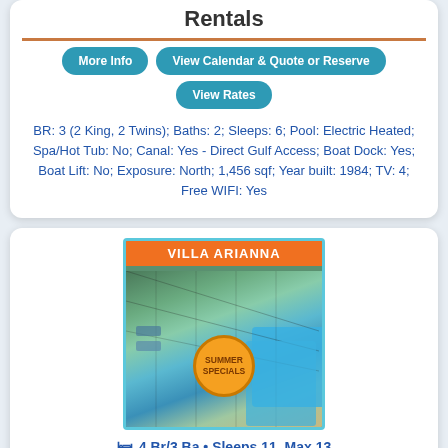Rentals
More Info
View Calendar & Quote or Reserve
View Rates
BR: 3 (2 King, 2 Twins); Baths: 2; Sleeps: 6; Pool: Electric Heated; Spa/Hot Tub: No; Canal: Yes - Direct Gulf Access; Boat Dock: Yes; Boat Lift: No; Exposure: North; 1,456 sqf; Year built: 1984; TV: 4; Free WIFI: Yes
[Figure (photo): Villa Arianna property photo with pool and screened enclosure, Summer Specials badge overlay]
4 Br/3 Ba • Sleeps 11, Max 13
$236-370/nt, 1655-2593/wk, 7093-11114/mo